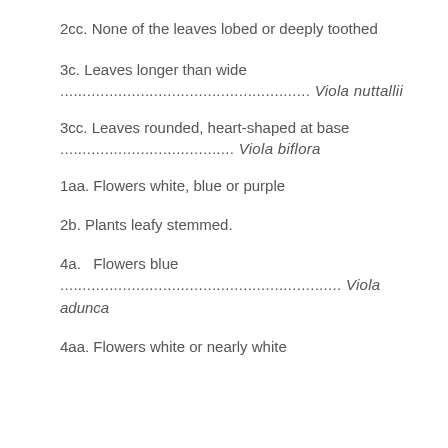2cc. None of the leaves lobed or deeply toothed
3c. Leaves longer than wide
........................................................ Viola nuttallii
3cc. Leaves rounded, heart-shaped at base
....................................... Viola biflora
1aa. Flowers white, blue or purple
2b. Plants leafy stemmed.
4a.  Flowers blue
............................................................... Viola adunca
4aa. Flowers white or nearly white